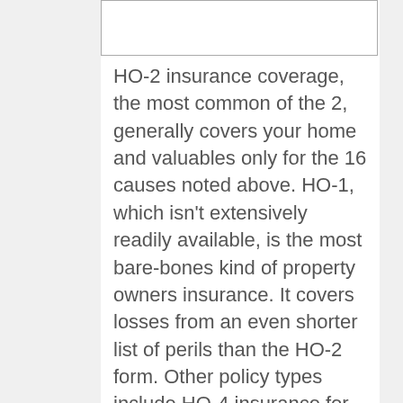[Figure (other): Empty white box at top of page, partially visible]
HO-2 insurance coverage, the most common of the 2, generally covers your home and valuables only for the 16 causes noted above. HO-1, which isn't extensively readily available, is the most bare-bones kind of property owners insurance. It covers losses from an even shorter list of perils than the HO-2 form. Other policy types include HO-4 insurance for occupants, HO-6 for condo owners, HO-7 for mobile homes and HO-8, a hardly ever used type that provides minimal coverage for older homes.